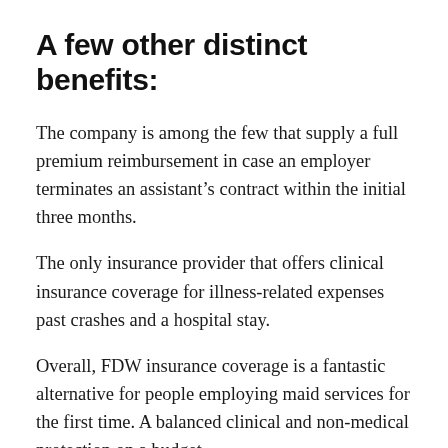A few other distinct benefits:
The company is among the few that supply a full premium reimbursement in case an employer terminates an assistant’s contract within the initial three months.
The only insurance provider that offers clinical insurance coverage for illness-related expenses past crashes and a hospital stay.
Overall, FDW insurance coverage is a fantastic alternative for people employing maid services for the first time. A balanced clinical and non-medical protection on a budget.
Want just to satisfy the minimum demands stated by